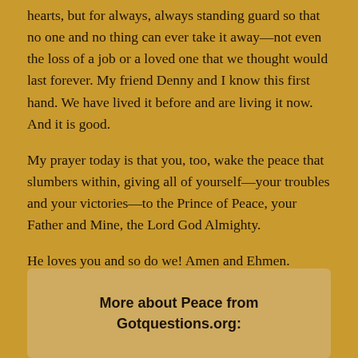hearts, but for always, always standing guard so that no one and no thing can ever take it away—not even the loss of a job or a loved one that we thought would last forever. My friend Denny and I know this first hand. We have lived it before and are living it now. And it is good.
My prayer today is that you, too, wake the peace that slumbers within, giving all of yourself—your troubles and your victories—to the Prince of Peace, your Father and Mine, the Lord God Almighty.
He loves you and so do we! Amen and Ehmen.
More about Peace from Gotquestions.org: